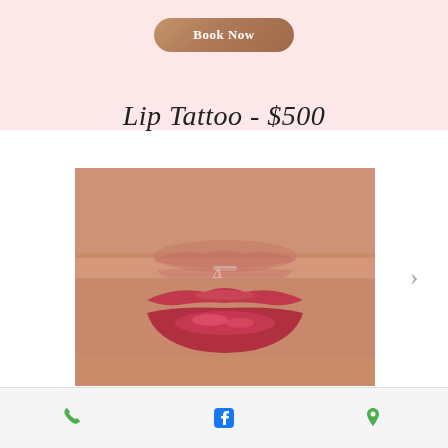[Figure (illustration): Rounded pill-shaped button with rose-gold gradient background and white bold text reading 'Book Now']
Lip Tattoo - $500
[Figure (photo): Before and after comparison of a lip tattoo procedure. Top half shows natural lips with minimal color (before). Bottom half shows lips with vibrant red/pink permanent makeup tattoo applied (after). A small white watermark is visible in the center.]
Phone | Facebook | Location icons navigation bar